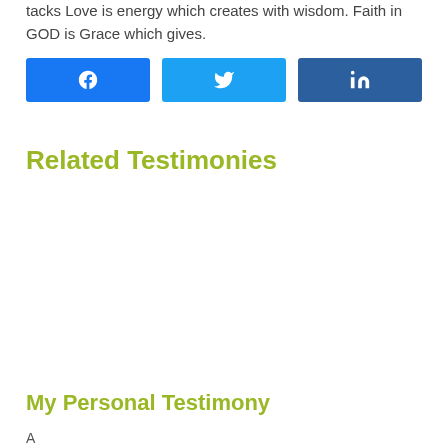tacks Love is energy which creates with wisdom. Faith in GOD is Grace which gives.
[Figure (infographic): Three social media share buttons: Facebook (blue), Twitter (light blue), LinkedIn (dark blue)]
Related Testimonies
My Personal Testimony
A